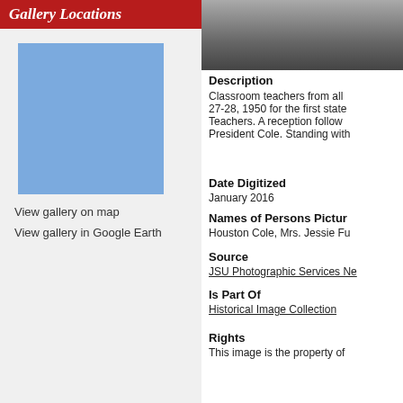Gallery Locations
[Figure (map): Blue map placeholder showing gallery location]
View gallery on map
View gallery in Google Earth
[Figure (photo): Black and white historical photo showing classroom scene with desk legs visible]
Description
Classroom teachers from all 27-28, 1950 for the first state Teachers. A reception follow President Cole. Standing with
Date Digitized
January 2016
Names of Persons Pictur
Houston Cole, Mrs. Jessie Fu
Source
JSU Photographic Services Ne
Is Part Of
Historical Image Collection
Rights
This image is the property of